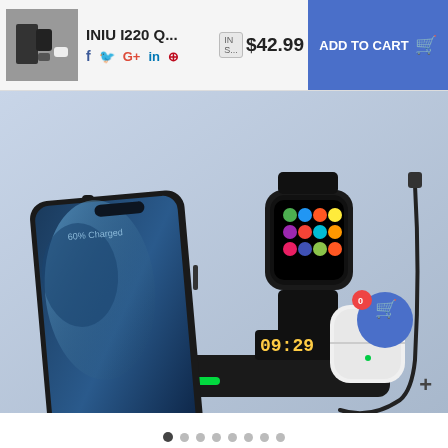INIU I220 Q...
$42.99
ADD TO CART
[Figure (photo): INIU I220 wireless charging station showing an iPhone 12 Pro, Apple Watch, and AirPods charging simultaneously on a black multi-device wireless charger with LED clock display showing 09:29 and green LED indicator on the base. A charging cable is visible on the right side.]
+
0